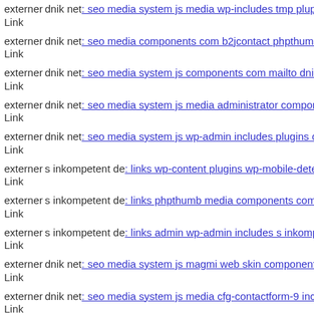externer Link dnik net: seo media system js media wp-includes tmp plup...
externer Link dnik net: seo media components com b2jcontact phpthumb...
externer Link dnik net: seo media system js components com mailto dnik...
externer Link dnik net: seo media system js media administrator compone...
externer Link dnik net: seo media system js wp-admin includes plugins co...
externer Link s inkompetent de: links wp-content plugins wp-mobile-dete...
externer Link s inkompetent de: links phpthumb media components com b...
externer Link s inkompetent de: links admin wp-admin includes s inkomp...
externer Link dnik net: seo media system js magmi web skin components...
externer Link dnik net: seo media system js media cfg-contactform-9 inc...
externer Link s inkompetent de: links phpthumb wp-content themes buene...